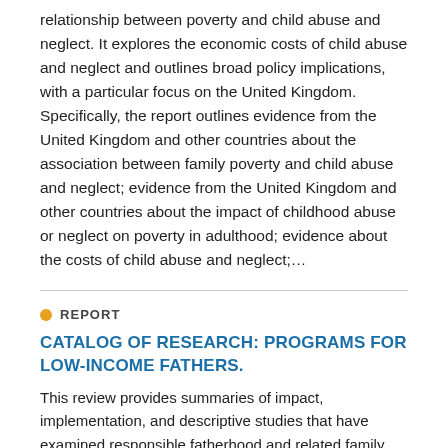relationship between poverty and child abuse and neglect. It explores the economic costs of child abuse and neglect and outlines broad policy implications, with a particular focus on the United Kingdom. Specifically, the report outlines evidence from the United Kingdom and other countries about the association between family poverty and child abuse and neglect; evidence from the United Kingdom and other countries about the impact of childhood abuse or neglect on poverty in adulthood; evidence about the costs of child abuse and neglect;…
REPORT
CATALOG OF RESEARCH: PROGRAMS FOR LOW-INCOME FATHERS.
This review provides summaries of impact, implementation, and descriptive studies that have examined responsible fatherhood and related family strengthening programs that target and serve low-income fathers. (Author abstract)